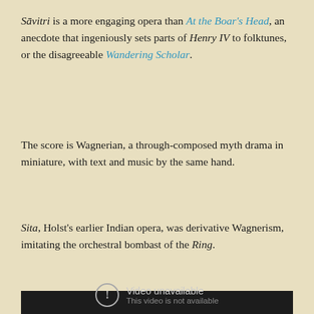Sāvitri is a more engaging opera than At the Boar's Head, an anecdote that ingeniously sets parts of Henry IV to folktunes, or the disagreeable Wandering Scholar.
The score is Wagnerian, a through-composed myth drama in miniature, with text and music by the same hand.
Sita, Holst's earlier Indian opera, was derivative Wagnerism, imitating the orchestral bombast of the Ring.
[Figure (screenshot): Dark video player box showing 'Video unavailable' message with a circle-exclamation icon and subtitle 'This video is not available']